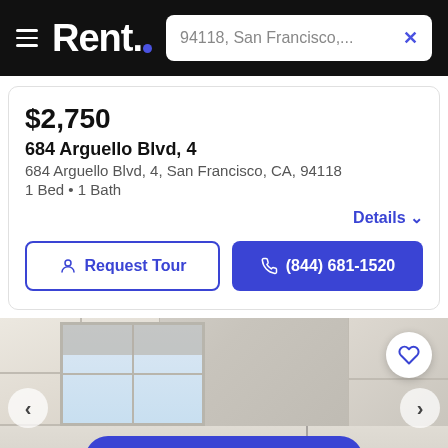Rent. — 94118, San Francisco,...
$2,750
684 Arguello Blvd, 4
684 Arguello Blvd, 4, San Francisco, CA, 94118
1 Bed • 1 Bath
Details ∨
Request Tour
(844) 681-1520
[Figure (photo): Interior kitchen photo of apartment at 684 Arguello Blvd showing white cabinets, window, and dark countertop]